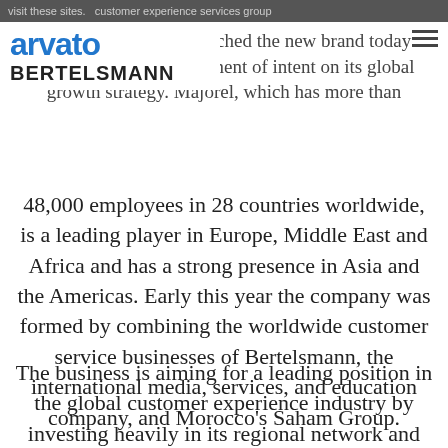visit these sites.  customer experience services group
[Figure (logo): Arvato Bertelsmann logo — 'arvato' in blue bold sans-serif above 'BERTELSMANN' in dark bold sans-serif]
'Majorel', formally launched the new brand today with an ambitious statement of intent on its global growth strategy. Majorel, which has more than 48,000 employees in 28 countries worldwide, is a leading player in Europe, Middle East and Africa and has a strong presence in Asia and the Americas. Early this year the company was formed by combining the worldwide customer service businesses of Bertelsmann, the international media, services, and education company, and Morocco's Saham Group.
The business is aiming for a leading position in the global customer experience industry by investing heavily in its regional network and digital customer engagement capabilities. It plans to invest several